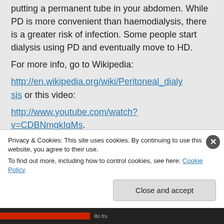putting a permanent tube in your abdomen. While PD is more convenient than haemodialysis, there is a greater risk of infection. Some people start dialysis using PD and eventually move to HD. For more info, go to Wikipedia: http://en.wikipedia.org/wiki/Peritoneal_dialysis or this video: http://www.youtube.com/watch?v=CDBNmgkIqMs.
Privacy & Cookies: This site uses cookies. By continuing to use this website, you agree to their use. To find out more, including how to control cookies, see here: Cookie Policy